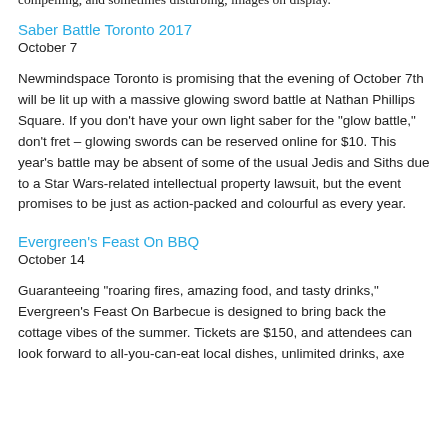compelling, and sometimes disturbing, images on display.
Saber Battle Toronto 2017
October 7
Newmindspace Toronto is promising that the evening of October 7th will be lit up with a massive glowing sword battle at Nathan Phillips Square. If you don't have your own light saber for the “glow battle,” don’t fret – glowing swords can be reserved online for $10. This year’s battle may be absent of some of the usual Jedis and Siths due to a Star Wars-related intellectual property lawsuit, but the event promises to be just as action-packed and colourful as every year.
Evergreen’s Feast On BBQ
October 14
Guaranteeing “roaring fires, amazing food, and tasty drinks,” Evergreen’s Feast On Barbecue is designed to bring back the cottage vibes of the summer. Tickets are $150, and attendees can look forward to all-you-can-eat local dishes, unlimited drinks, axe